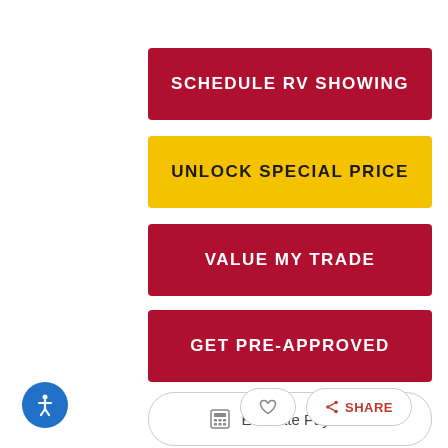SCHEDULE RV SHOWING
UNLOCK SPECIAL PRICE
VALUE MY TRADE
GET PRE-APPROVED
Estimate Payments
SHARE